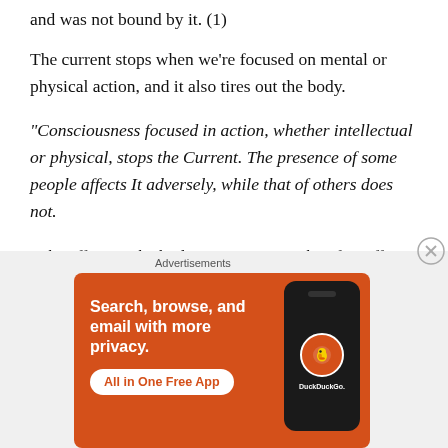and was not bound by it. (1)
The current stops when we’re focused on mental or physical action, and it also tires out the body.
“Consciousness focused in action, whether intellectual or physical, stops the Current. The presence of some people affects It adversely, while that of others does not.
“The effect on the body is interesting. The after-effect of this surprisingly gentle Current, with all its exquisite delight, is a feeling of intangible tiredness in the body, somewhat like that which would be experienced after a
Advertisements
[Figure (screenshot): DuckDuckGo advertisement banner with orange background. Text reads: Search, browse, and email with more privacy. All in One Free App. Shows DuckDuckGo logo on a phone mockup.]